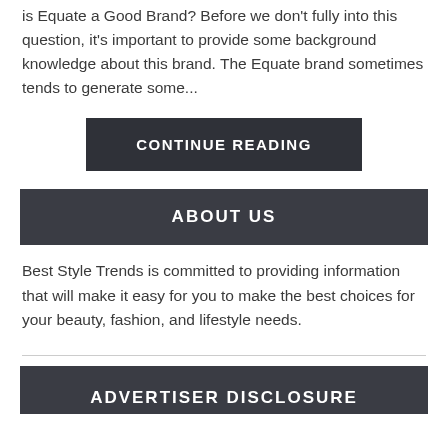is Equate a Good Brand? Before we don't fully into this question, it's important to provide some background knowledge about this brand. The Equate brand sometimes tends to generate some...
CONTINUE READING
ABOUT US
Best Style Trends is committed to providing information that will make it easy for you to make the best choices for your beauty, fashion, and lifestyle needs.
ADVERTISER DISCLOSURE